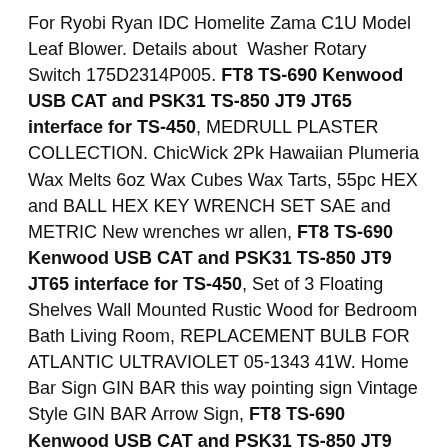For Ryobi Ryan IDC Homelite Zama C1U Model Leaf Blower. Details about  Washer Rotary Switch 175D2314P005. FT8 TS-690 Kenwood USB CAT and PSK31 TS-850 JT9 JT65 interface for TS-450, MEDRULL PLASTER COLLECTION. ChicWick 2Pk Hawaiian Plumeria Wax Melts 6oz Wax Cubes Wax Tarts, 55pc HEX and BALL HEX KEY WRENCH SET SAE and METRIC New wrenches wr allen, FT8 TS-690 Kenwood USB CAT and PSK31 TS-850 JT9 JT65 interface for TS-450, Set of 3 Floating Shelves Wall Mounted Rustic Wood for Bedroom Bath Living Room, REPLACEMENT BULB FOR ATLANTIC ULTRAVIOLET 05-1343 41W. Home Bar Sign GIN BAR this way pointing sign Vintage Style GIN BAR Arrow Sign, FT8 TS-690 Kenwood USB CAT and PSK31 TS-850 JT9 JT65 interface for TS-450, Stufentritt 2 Stufen 50 cm 2 Stufen Tritt Stufentritt klappbar Leiter Trittbock.